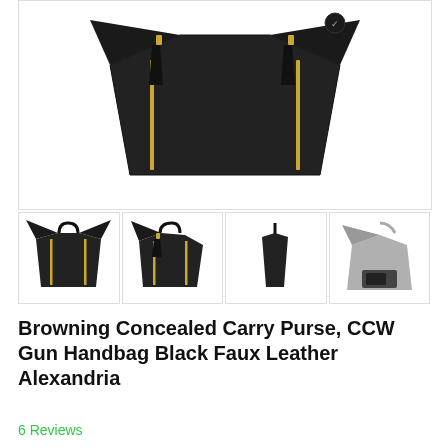[Figure (photo): Main product image of a black faux leather Browning concealed carry purse/handbag (Alexandria style) with gold zipper details and tassel pulls, shown front-facing on white background.]
[Figure (photo): Thumbnail 1: Front-facing view of black Alexandria handbag with gold zippers and tassels.]
[Figure (photo): Thumbnail 2: Three-quarter angle view of black Alexandria handbag showing side profile.]
[Figure (photo): Thumbnail 3: Side profile view of black Alexandria handbag.]
[Figure (photo): Thumbnail 4: Interior/open view of a gray version of the Alexandria handbag showing concealed carry compartment.]
Browning Concealed Carry Purse, CCW Gun Handbag Black Faux Leather Alexandria
6 Reviews